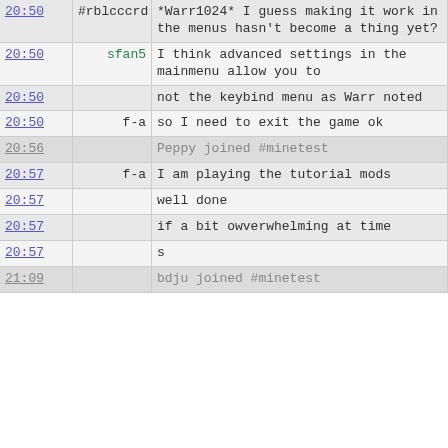| time | user | message |
| --- | --- | --- |
| 20:50 | #rblcccrd | *Warr1024* I guess making it work in the menus hasn't become a thing yet? |
| 20:50 | sfan5 | I think advanced settings in the mainmenu allow you to |
| 20:50 |  | not the keybind menu as Warr noted |
| 20:50 | f-a | so I need to exit the game ok |
| 20:56 |  | Peppy joined #minetest |
| 20:57 | f-a | I am playing the tutorial mods |
| 20:57 |  | well done |
| 20:57 |  | if a bit owverwhelming at time |
| 20:57 |  | s |
| 21:09 |  | bdju joined #minetest |